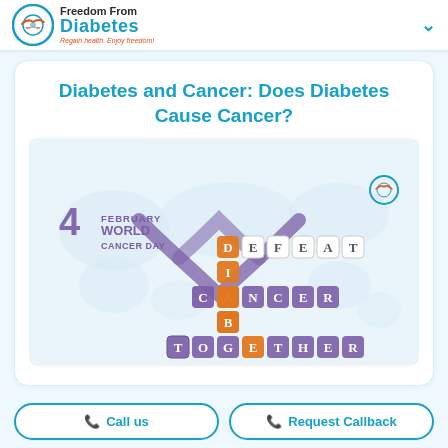Freedom From Diabetes - Regain health. Enjoy freedom!
Diabetes and Cancer: Does Diabetes Cause Cancer?
[Figure (illustration): World Cancer Day illustration showing '4 February World Cancer Day' with a purple cancer awareness ribbon, and a crossword-style word puzzle spelling out DEFEAT CANCER DIABETES TOGETHER on a world map background, with colored letter tiles in orange, purple, and blue.]
Call us
Request Callback